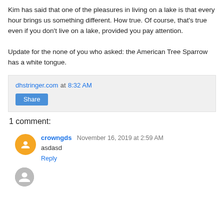Kim has said that one of the pleasures in living on a lake is that every hour brings us something different. How true. Of course, that's true even if you don't live on a lake, provided you pay attention.
Update for the none of you who asked: the American Tree Sparrow has a white tongue.
dhstringer.com at 8:32 AM
Share
1 comment:
crowngds November 16, 2019 at 2:59 AM
asdasd
Reply